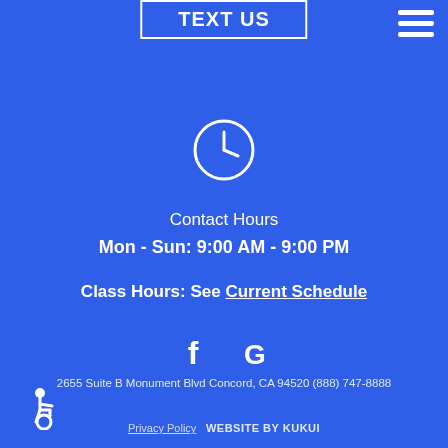TEXT US
[Figure (illustration): Clock icon (circle with clock hands indicating approximately 9 o'clock)]
Contact Hours
Mon - Sun: 9:00 AM - 9:00 PM
Class Hours: See Current Schedule
[Figure (illustration): Facebook and Google social media icons in white]
2655 Suite B Monument Blvd Concord, CA 94520 (888) 747-8888
[Figure (illustration): Accessible wheelchair icon]
Privacy Policy   WEBSITE BY KUKUI